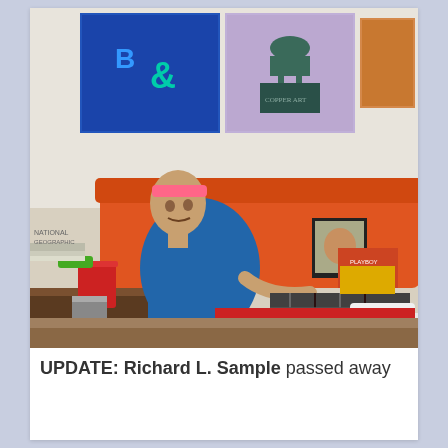[Figure (photo): An elderly man wearing a pink headband and blue shirt, reclining on an orange sofa with plaid pants and white socks. A colorful Native American-style blanket is draped over the couch. Artwork hangs on the wall behind him. A red cup and other items are visible on a coffee table to the left.]
UPDATE: Richard L. Sample passed away